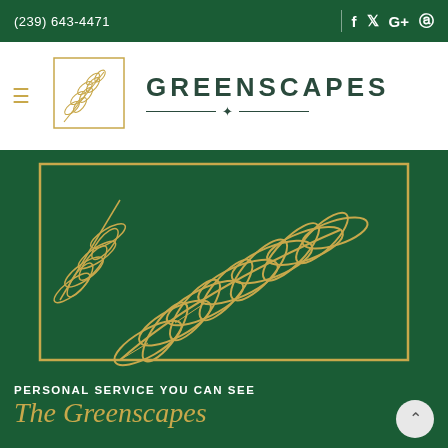(239) 643-4471
[Figure (logo): Greenscapes logo with botanical square illustration and company name GREENSCAPES in bold teal lettering with decorative lines and leaf icon]
[Figure (illustration): Large gold botanical leaf/fern illustration on dark green background inside a gold rectangle border]
PERSONAL SERVICE YOU CAN SEE
The Greenscapes